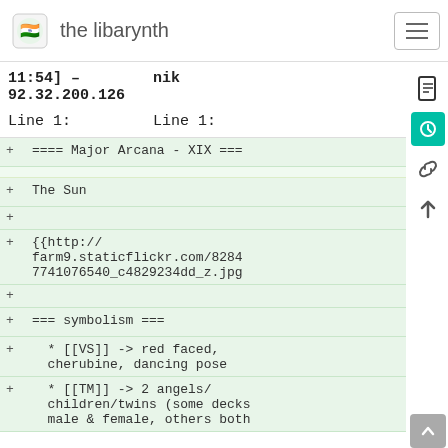the libarynth
11:54] –    nik
92.32.200.126
Line 1:    Line 1:
+ ==== Major Arcana - XIX ===
+ The Sun
+
+ {{http://
farm9.staticflickr.com/8284
7741076540_c4829234dd_z.jpg
+
+ === symbolism ===
+   * [[VS]] -> red faced, cherubine, dancing pose
+   * [[TM]] -> 2 angels/children/twins (some decks male & female, others both